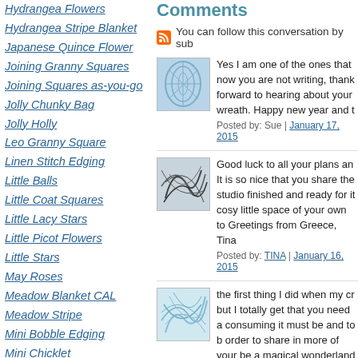Hydrangea Flowers
Hydrangea Stripe Blanket
Japanese Quince Flower
Joining Granny Squares
Joining Squares as-you-go
Jolly Chunky Bag
Jolly Holly
Leo Granny Square
Linen Stitch Edging
Little Balls
Little Coat Squares
Little Lacy Stars
Little Picot Flowers
Little Stars
May Roses
Meadow Blanket CAL
Meadow Stripe
Mini Bobble Edging
Mini Chicklet
Moorland Blanket Edging
Moorland Stripe Blanket
Neat Ripple Pattern
Neat Wave Pattern
Polyanthus Flower
Positivity Mandala Hoop
Pretty Crochet Trim
Raindrops Stitch
Comments
You can follow this conversation by sub
Yes I am one of the ones that now you are not writing, thank forward to hearing about your wreath. Happy new year and t
Posted by: Sue | January 17, 2015
Good luck to all your plans an It is so nice that you share the studio finished and ready for it cosy little space of your own to Greetings from Greece, Tina
Posted by: TINA | January 16, 2015
the first thing I did when my cr but I totally get that you need a consuming it must be and to b order to share in more of your be a magical wonderland and thanks for your tireless hard
Posted by: